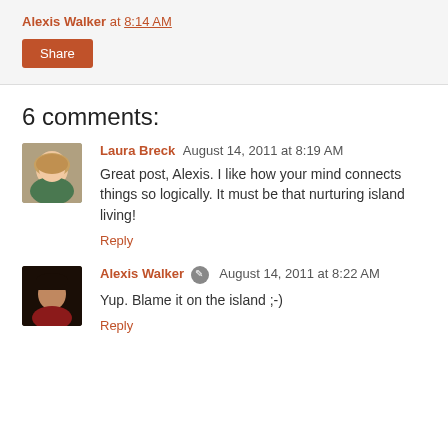Alexis Walker at 8:14 AM
Share
6 comments:
Laura Breck  August 14, 2011 at 8:19 AM
Great post, Alexis. I like how your mind connects things so logically. It must be that nurturing island living!
Reply
Alexis Walker  August 14, 2011 at 8:22 AM
Yup. Blame it on the island ;-)
Reply